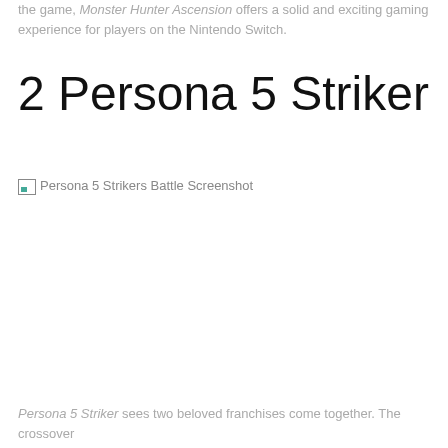the game, Monster Hunter Ascension offers a solid and exciting gaming experience for players on the Nintendo Switch.
2 Persona 5 Striker
[Figure (screenshot): Persona 5 Strikers Battle Screenshot — broken image placeholder with alt text]
Persona 5 Striker sees two beloved franchises come together. The crossover